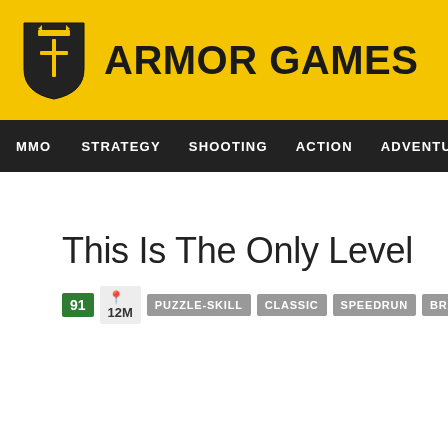ARMOR GAMES
MMO  STRATEGY  SHOOTING  ACTION  ADVENTURE  P
This Is The Only Level
91  12M  PUZZLE-SKILL  CLASSIC  SPEEDRUN  BRAIN TEASER  FLASH